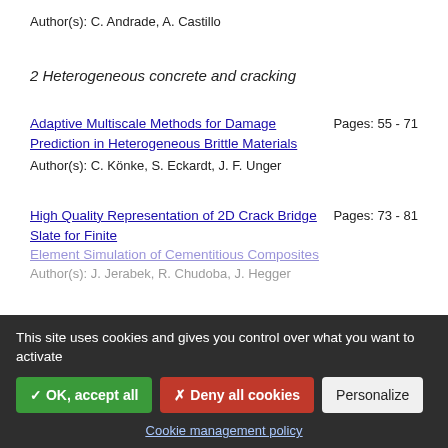Author(s): C. Andrade, A. Castillo
2 Heterogeneous concrete and cracking
Adaptive Multiscale Methods for Damage Prediction in Heterogeneous Brittle Materials
Pages: 55 - 71
Author(s): C. Könke, S. Eckardt, J. F. Unger
High Quality Representation of 2D Crack Bridge Slate for Finite Element Simulation of Cementitious Composites
Pages: 73 - 81
Author(s): J. Jerabek, R. Chudoba, J. Hegger
This site uses cookies and gives you control over what you want to activate
✓ OK, accept all
✗ Deny all cookies
Personalize
Cookie management policy